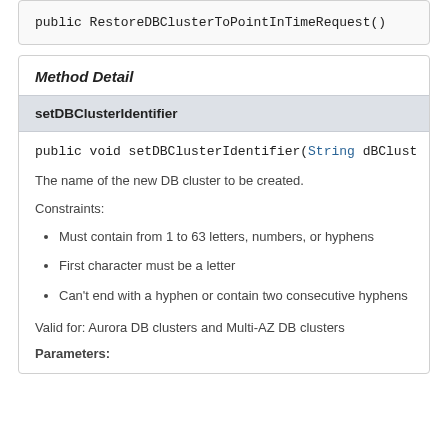public RestoreDBClusterToPointInTimeRequest()
Method Detail
setDBClusterIdentifier
public void setDBClusterIdentifier(String dBClust
The name of the new DB cluster to be created.
Constraints:
Must contain from 1 to 63 letters, numbers, or hyphens
First character must be a letter
Can't end with a hyphen or contain two consecutive hyphens
Valid for: Aurora DB clusters and Multi-AZ DB clusters
Parameters: